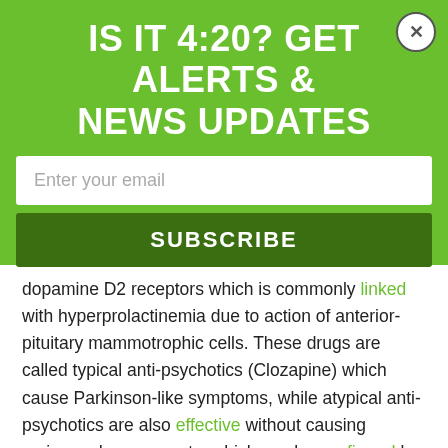IS IT 4:20? GET ALERTS & NEWS UPDATES
Enter your email
SUBSCRIBE
dopamine D2 receptors which is commonly linked with hyperprolactinemia due to action of anterior-pituitary mammotrophic cells. These drugs are called typical anti-psychotics (Clozapine) which cause Parkinson-like symptoms, while atypical anti-psychotics are also effective without causing serious adverse events, which can be confirmed by a catalepsy test.
Atypical anti-psychotic drugs inhibit hyperlocomotion and the stereotype that results due to dopamine antagonists at lower doses. Effective anti-psychotic action requires the blocking of D2 receptors